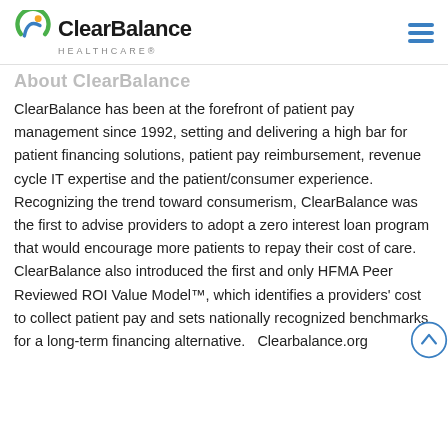[Figure (logo): ClearBalance Healthcare logo with circular swoosh icon and company name]
About ClearBalance
ClearBalance has been at the forefront of patient pay management since 1992, setting and delivering a high bar for patient financing solutions, patient pay reimbursement, revenue cycle IT expertise and the patient/consumer experience. Recognizing the trend toward consumerism, ClearBalance was the first to advise providers to adopt a zero interest loan program that would encourage more patients to repay their cost of care. ClearBalance also introduced the first and only HFMA Peer Reviewed ROI Value Model™, which identifies a providers' cost to collect patient pay and sets nationally recognized benchmarks for a long-term financing alternative.   Clearbalance.org